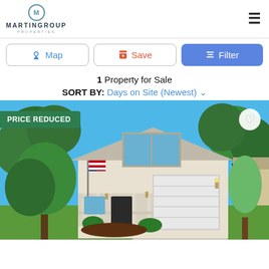[Figure (logo): Martin Group Properties logo with circular M emblem]
Map | Save | Filter
1 Property for Sale
SORT BY: Days on Site (Newest)
[Figure (photo): Two-story white house with green trees, American flag on porch, white garage door, blue sky background, PRICE REDUCED badge in top left corner]